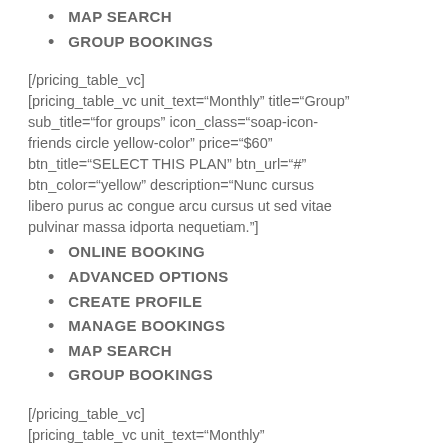MAP SEARCH
GROUP BOOKINGS
[/pricing_table_vc]
[pricing_table_vc unit_text="Monthly" title="Group" sub_title="for groups" icon_class="soap-icon-friends circle yellow-color" price="$60" btn_title="SELECT THIS PLAN" btn_url="#" btn_color="yellow" description="Nunc cursus libero purus ac congue arcu cursus ut sed vitae pulvinar massa idporta nequetiam."]
ONLINE BOOKING
ADVANCED OPTIONS
CREATE PROFILE
MANAGE BOOKINGS
MAP SEARCH
GROUP BOOKINGS
[/pricing_table_vc]
[pricing_table_vc unit_text="Monthly" title="Corporate" sub_title="for SME's" icon_class="soap-icon-suitcase circle blue-color" price="$120" btn_title="SELECT THIS PLAN" btn_url="#" btn_color="blue"